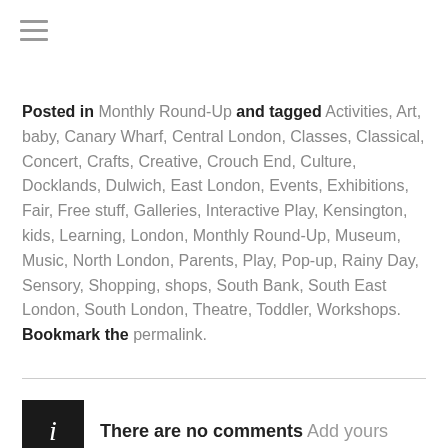[Figure (other): Hamburger menu icon (three horizontal lines)]
Posted in Monthly Round-Up and tagged Activities, Art, baby, Canary Wharf, Central London, Classes, Classical, Concert, Crafts, Creative, Crouch End, Culture, Docklands, Dulwich, East London, Events, Exhibitions, Fair, Free stuff, Galleries, Interactive Play, Kensington, kids, Learning, London, Monthly Round-Up, Museum, Music, North London, Parents, Play, Pop-up, Rainy Day, Sensory, Shopping, shops, South Bank, South East London, South London, Theatre, Toddler, Workshops. Bookmark the permalink.
There are no comments Add yours